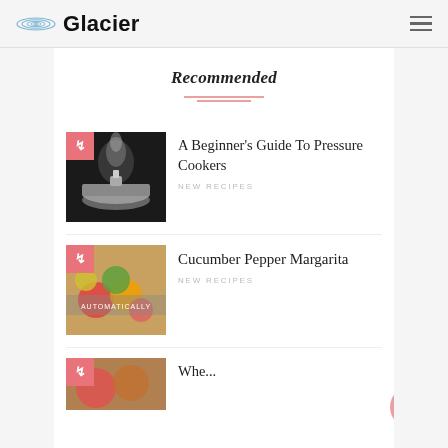Glacier
Recommended
[Figure (photo): Thumbnail image of a pressure cooker with steam, with a pink badge overlay]
A Beginner's Guide To Pressure Cookers
New Recipes
[Figure (photo): Thumbnail image of colorful vegetables and food, with a pink badge overlay]
Cucumber Pepper Margarita
New Recipes
[Figure (photo): Partial thumbnail of third article with pink badge overlay]